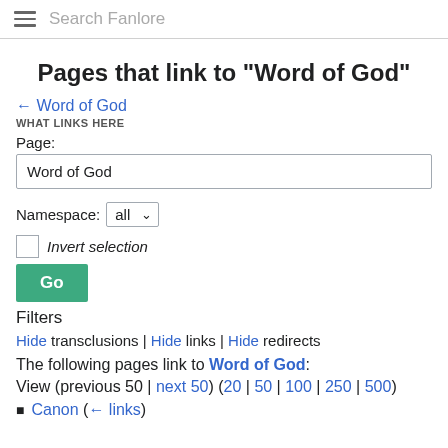Search Fanlore
Pages that link to "Word of God"
← Word of God
WHAT LINKS HERE
Page:
Word of God
Namespace:  all
Invert selection
Go
Filters
Hide transclusions | Hide links | Hide redirects
The following pages link to Word of God:
View (previous 50 | next 50) (20 | 50 | 100 | 250 | 500)
Canon  (← links)